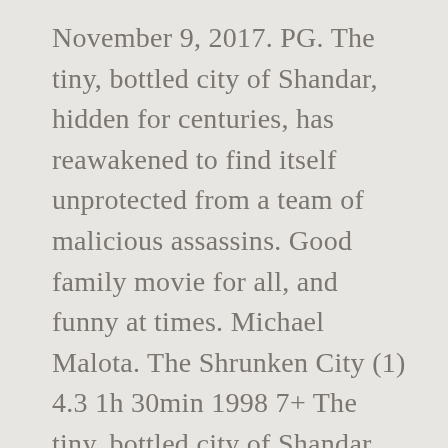November 9, 2017. PG. The tiny, bottled city of Shandar, hidden for centuries, has reawakened to find itself unprotected from a team of malicious assassins. Good family movie for all, and funny at times. Michael Malota. The Shrunken City (1) 4.3 1h 30min 1998 7+ The tiny, bottled city of Shandar, hidden for centuries, has reawakened to find itself unprotected from a team of malicious assassins. Find trailers, reviews, synopsis, awards and cast information for The Shrunken City (1998) - Ted Nicolaou on AllMovie - Two young explorers discover a miniature city... Two children find a tiny city in a bottle, under attack from assassins after